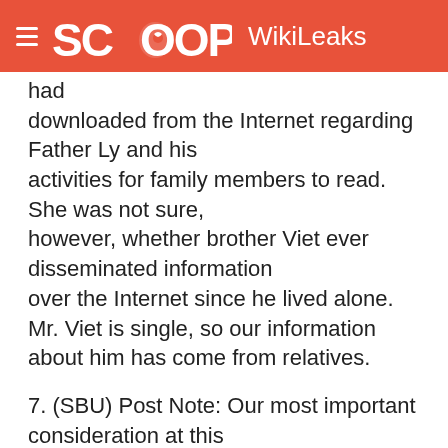SCOOP WikiLeaks
had downloaded from the Internet regarding Father Ly and his activities for family members to read. She was not sure, however, whether brother Viet ever disseminated information over the Internet since he lived alone. Mr. Viet is single, so our information about him has come from relatives.
7. (SBU) Post Note: Our most important consideration at this point is the welfare of the three accused and their families. We do not want to put them in any (further)